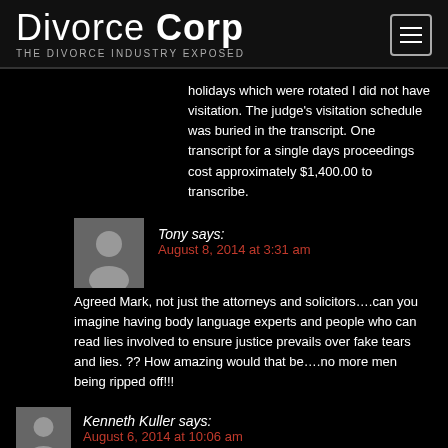Divorce Corp — THE DIVORCE INDUSTRY EXPOSED
holidays which were rotated I did not have visitation. The judge's visitation schedule was buried in the transcript. One transcript for a single days proceedings cost approximately $1,400.00 to transcribe.
Tony says: August 8, 2014 at 3:31 am
Agreed Mark, not just the attorneys and solicitors….can you imagine having body language experts and people who can read lies involved to ensure justice prevails over fake tears and lies. ?? How amazing would that be….no more men being ripped off!!!
Kenneth Kuller says: August 6, 2014 at 10:06 am